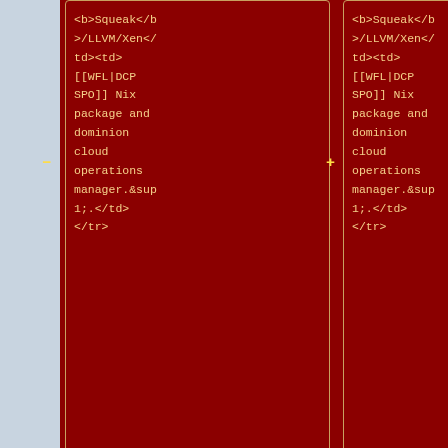[Figure (screenshot): Wiki diff view showing two columns of HTML source code on dark red background. Left column shows code with <b>Squeak</b>/LLVM/Xen</td><td>[[WFL|DCP SPO]] Nix package and dominion cloud operations manager.&sup1;.</td></tr>. Right column shows identical code. Both columns have yellow/cream colored monospace text on dark red background with gold borders. Below the code columns are white rounded-rectangle boxes showing </table> and </center> tags in both columns. At the bottom is orange text reading 'Revision as of 19:57, 22 June 2011'.]
[Figure (photo): Black and white historical photograph showing people's legs and feet, with robes/draped clothing visible. Appears to be a crowd scene or ceremony.]